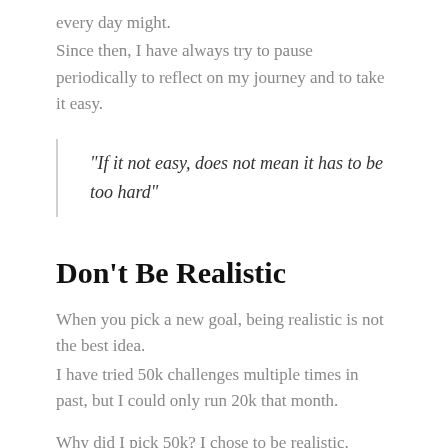every day might.
Since then, I have always try to pause periodically to reflect on my journey and to take it easy.
“If it not easy, does not mean it has to be too hard”
Don’t Be Realistic
When you pick a new goal, being realistic is not the best idea.
I have tried 50k challenges multiple times in past, but I could only run 20k that month.
Why did I pick 50k? I chose to be realistic.